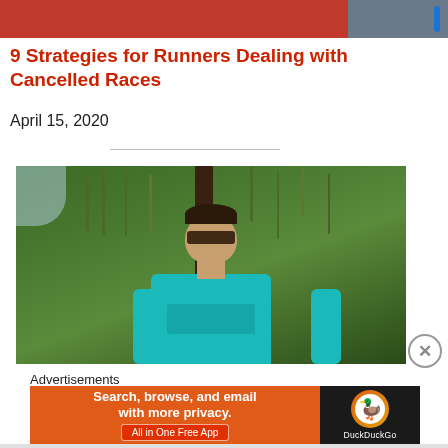[Figure (photo): Partial screenshot of a website header showing a red and grey banner image]
9 Strategies for Runners Dealing with Cancelled Races
April 15, 2020
[Figure (photo): Man with sunglasses wearing a teal t-shirt standing outdoors in front of trees]
Advertisements
[Figure (screenshot): DuckDuckGo advertisement banner: Search, browse, and email with more privacy. All in One Free App]